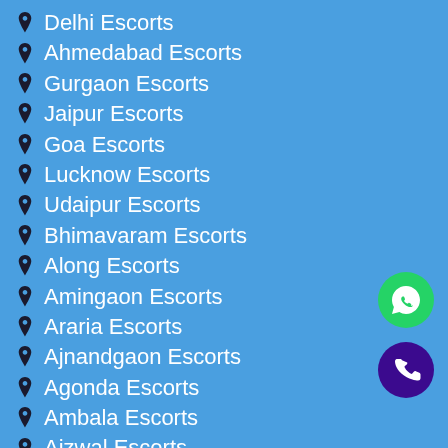Delhi Escorts
Ahmedabad Escorts
Gurgaon Escorts
Jaipur Escorts
Goa Escorts
Lucknow Escorts
Udaipur Escorts
Bhimavaram Escorts
Along Escorts
Amingaon Escorts
Araria Escorts
Ajnandgaon Escorts
Agonda Escorts
Ambala Escorts
Aizwal Escorts
Arki Escorts
Anantnag Escorts
Adityapur Escorts
[Figure (illustration): WhatsApp contact button (green circle with phone handset icon)]
[Figure (illustration): Phone call button (dark purple circle with phone handset icon)]